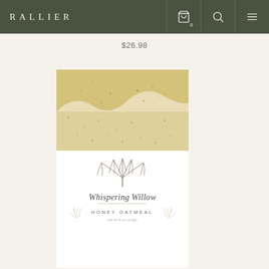RALLIER
$26.98
[Figure (photo): A bar of Whispering Willow Honey Oatmeal soap with a textured golden-yellow top visible above a white paper label. The label features a willow tree illustration, the brand name 'Whispering Willow' in cursive script, 'HONEY OATMEAL' in spaced capitals, and 'net wt 4 oz (113g)' in small text, with decorative wheat/leaf motifs.]